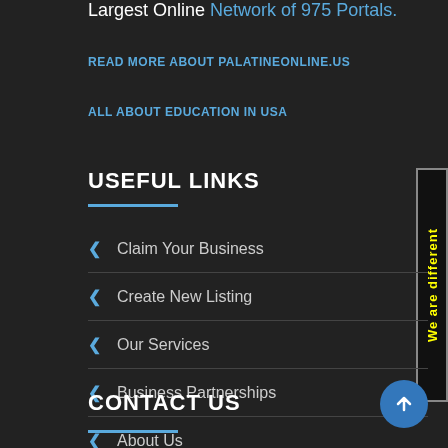Largest Online Network of 975 Portals.
READ MORE ABOUT PALATINEONLINE.US
ALL ABOUT EDUCATION IN USA
USEFUL LINKS
Claim Your Business
Create New Listing
Our Services
Business Partnerships
About Us
CONTACT US
[Figure (other): Vertical side badge with yellow text reading 'We are different' on dark background with border]